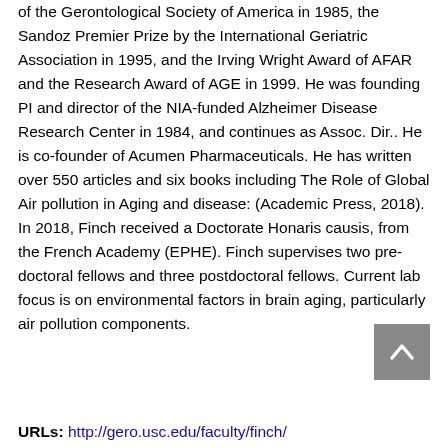of the Gerontological Society of America in 1985, the Sandoz Premier Prize by the International Geriatric Association in 1995, and the Irving Wright Award of AFAR and the Research Award of AGE in 1999. He was founding PI and director of the NIA-funded Alzheimer Disease Research Center in 1984, and continues as Assoc. Dir.. He is co-founder of Acumen Pharmaceuticals. He has written over 550 articles and six books including The Role of Global Air pollution in Aging and disease: (Academic Press, 2018). In 2018, Finch received a Doctorate Honaris causis, from the French Academy (EPHE). Finch supervises two pre-doctoral fellows and three postdoctoral fellows. Current lab focus is on environmental factors in brain aging, particularly air pollution components.
URLs: http://gero.usc.edu/faculty/finch/